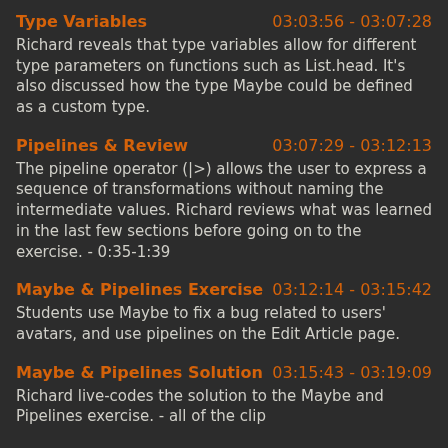Type Variables  03:03:56 - 03:07:28
Richard reveals that type variables allow for different type parameters on functions such as List.head. It's also discussed how the type Maybe could be defined as a custom type.
Pipelines & Review  03:07:29 - 03:12:13
The pipeline operator (|>) allows the user to express a sequence of transformations without naming the intermediate values. Richard reviews what was learned in the last few sections before going on to the exercise. - 0:35-1:39
Maybe & Pipelines Exercise  03:12:14 - 03:15:42
Students use Maybe to fix a bug related to users' avatars, and use pipelines on the Edit Article page.
Maybe & Pipelines Solution  03:15:43 - 03:19:09
Richard live-codes the solution to the Maybe and Pipelines exercise. - all of the clip